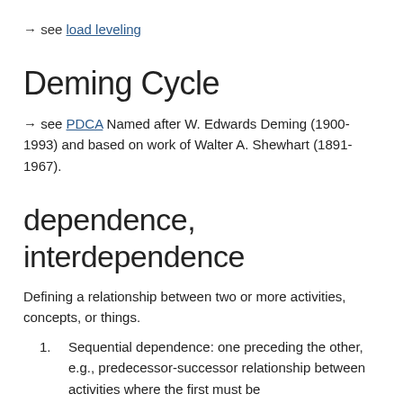→ see load leveling
Deming Cycle
→ see PDCA Named after W. Edwards Deming (1900-1993) and based on work of Walter A. Shewhart (1891-1967).
dependence, interdependence
Defining a relationship between two or more activities, concepts, or things.
Sequential dependence: one preceding the other, e.g., predecessor-successor relationship between activities where the first must be